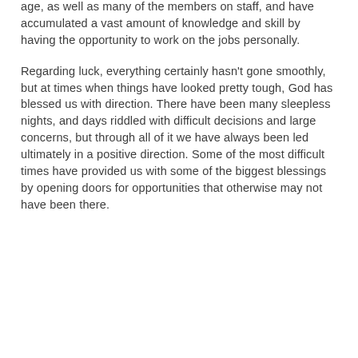age, as well as many of the members on staff, and have accumulated a vast amount of knowledge and skill by having the opportunity to work on the jobs personally.
Regarding luck, everything certainly hasn't gone smoothly, but at times when things have looked pretty tough, God has blessed us with direction. There have been many sleepless nights, and days riddled with difficult decisions and large concerns, but through all of it we have always been led ultimately in a positive direction. Some of the most difficult times have provided us with some of the biggest blessings by opening doors for opportunities that otherwise may not have been there.